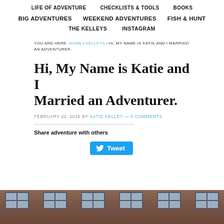LIFE OF ADVENTURE  CHECKLISTS & TOOLS  BOOKS
BIG ADVENTURES  WEEKEND ADVENTURES  FISH & HUNT
THE KELLEYS  INSTAGRAM
YOU ARE HERE: HOME / KELLEYS / HI, MY NAME IS KATIE AND I MARRIED AN ADVENTURER.
Hi, My Name is Katie and I Married an Adventurer.
FEBRUARY 20, 2016 BY KATIE KELLEY — 8 COMMENTS
Share adventure with others
[Figure (photo): Bottom portion of a brick building with multiple windows visible at the top of the photo strip]